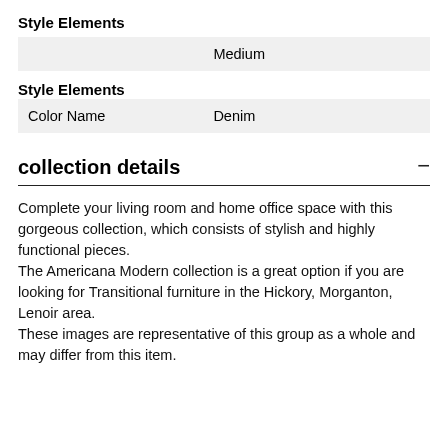Style Elements
|  | Medium |
Style Elements
| Color Name | Denim |
collection details
Complete your living room and home office space with this gorgeous collection, which consists of stylish and highly functional pieces.
The Americana Modern collection is a great option if you are looking for Transitional furniture in the Hickory, Morganton, Lenoir area.
These images are representative of this group as a whole and may differ from this item.